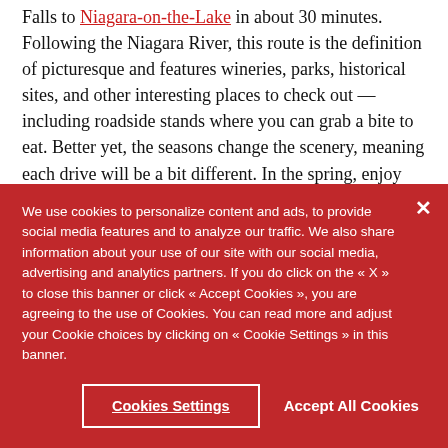Falls to Niagara-on-the-Lake in about 30 minutes. Following the Niagara River, this route is the definition of picturesque and features wineries, parks, historical sites, and other interesting places to check out — including roadside stands where you can grab a bite to eat. Better yet, the seasons change the scenery, meaning each drive will be a bit different. In the spring, enjoy the blossoms of the trees alongside the river; in the fall, these trees begin to shed their multi-colored foliage; and in the winter
We use cookies to personalize content and ads, to provide social media features and to analyze our traffic. We also share information about your use of our site with our social media, advertising and analytics partners. If you do click on the « X » to close this banner or click « Accept Cookies », you are agreeing to the use of Cookies. You can read more and adjust your Cookie choices by clicking on « Cookie Settings » in this banner.
Cookies Settings
Accept All Cookies